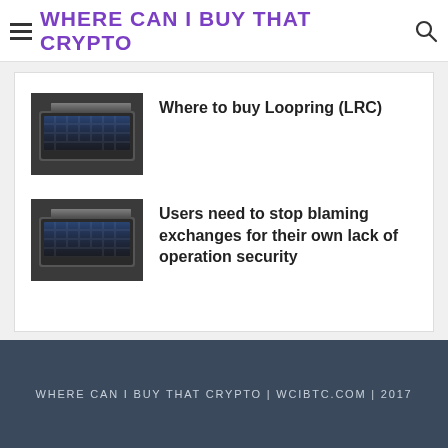WHERE CAN I BUY THAT CRYPTO
[Figure (photo): Close-up photo of a backlit laptop keyboard in dark setting]
Where to buy Loopring (LRC)
[Figure (photo): Close-up photo of a backlit laptop keyboard in dark setting]
Users need to stop blaming exchanges for their own lack of operation security
WHERE CAN I BUY THAT CRYPTO | WCIBTC.COM | 2017